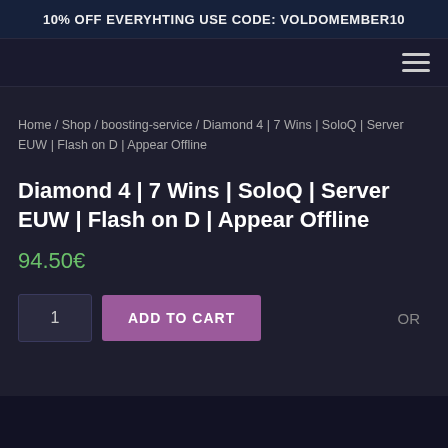10% OFF EVERYHTING USE CODE: VOLDOMEMBER10
Home / Shop / boosting-service / Diamond 4 | 7 Wins | SoloQ | Server EUW | Flash on D | Appear Offline
Diamond 4 | 7 Wins | SoloQ | Server EUW | Flash on D | Appear Offline
94.50€
1  ADD TO CART  OR